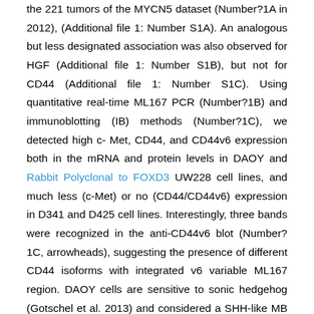the 221 tumors of the MYCN5 dataset (Number?1A in 2012), (Additional file 1: Number S1A). An analogous but less designated association was also observed for HGF (Additional file 1: Number S1B), but not for CD44 (Additional file 1: Number S1C). Using quantitative real-time ML167 PCR (Number?1B) and immunoblotting (IB) methods (Number?1C), we detected high c-Met, CD44, and CD44v6 expression both in the mRNA and protein levels in DAOY and Rabbit Polyclonal to FOXD3 UW228 cell lines, and much less (c-Met) or no (CD44/CD44v6) expression in D341 and D425 cell lines. Interestingly, three bands were recognized in the anti-CD44v6 blot (Number?1C, arrowheads), suggesting the presence of different CD44 isoforms with integrated v6 variable ML167 region. DAOY cells are sensitive to sonic hedgehog (Gotschel et al. 2013) and considered a SHH-like MB cell collection, whereas D341 is considered a group 3 cell collection (Snuderl et al. 2013). We confirmed surface manifestation of c-Met, CD44, and CD44v6 on DAOY (Number?1D) and UW228 cell lines (not shown) by circulation cytometry. This